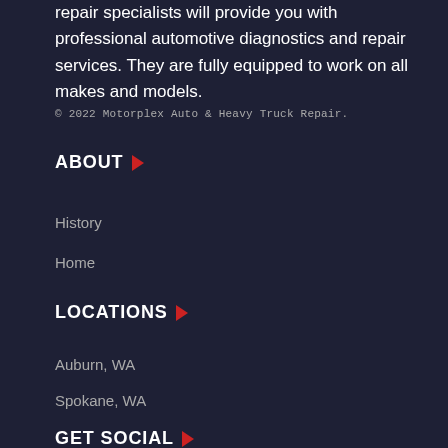repair specialists will provide you with professional automotive diagnostics and repair services. They are fully equipped to work on all makes and models.
© 2022 Motorplex Auto & Heavy Truck Repair.
ABOUT
History
Home
LOCATIONS
Auburn, WA
Spokane, WA
GET SOCIAL
[Figure (other): Four social media icons: Instagram (purple), Facebook (dark blue), Twitter (light blue), YouTube/RSS (red-orange)]